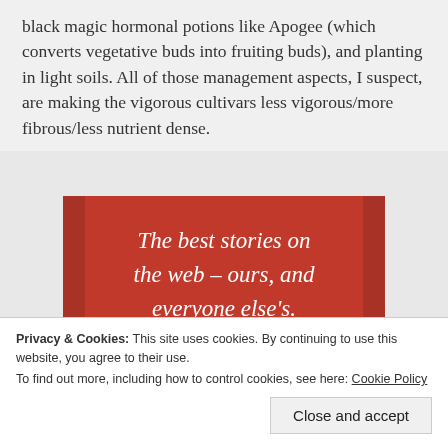black magic hormonal potions like Apogee (which converts vegetative buds into fruiting buds), and planting in light soils. All of those management aspects, I suspect, are making the vigorous cultivars less vigorous/more fibrous/less nutrient dense.
[Figure (infographic): Red advertisement banner with white serif italic text reading 'The best stories on the web – ours, and everyone else's.' and a black 'Start reading' button.]
Privacy & Cookies: This site uses cookies. By continuing to use this website, you agree to their use.
To find out more, including how to control cookies, see here: Cookie Policy